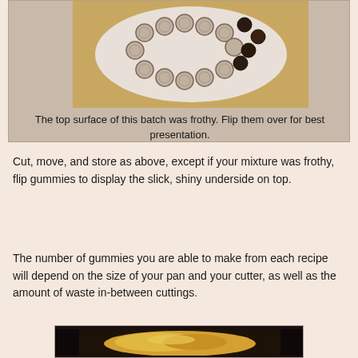[Figure (photo): Overhead photo of round gummy candies arranged on a white plate on a wooden cutting board, some gummies appear dark/melted in the corner]
The top surface of this batch was frothy. Flip them over for best presentation.
Cut, move, and store as above, except if your mixture was frothy, flip gummies to display the slick, shiny underside on top.
The number of gummies you are able to make from each recipe will depend on the size of your pan and your cutter, as well as the amount of waste in-between cuttings.
[Figure (photo): Photo of yellow/orange substance (possibly gummy mixture or food) on a dark black surface or pan]